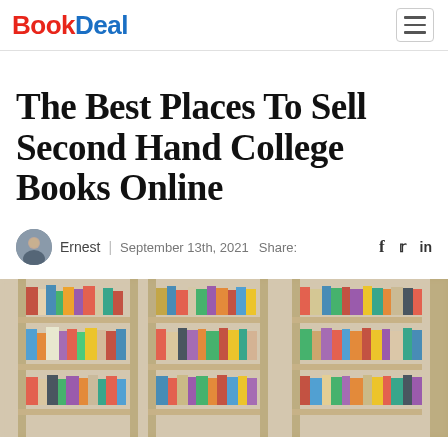BookDeal
The Best Places To Sell Second Hand College Books Online
Ernest | September 13th, 2021  Share:
[Figure (photo): Photograph of multiple bookshelves filled with colorful books, slightly blurred/bokeh effect]